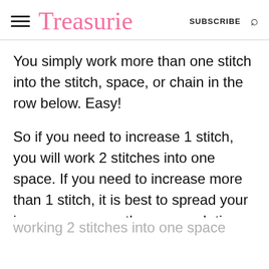Treasurie  SUBSCRIBE
You simply work more than one stitch into the stitch, space, or chain in the row below. Easy!
So if you need to increase 1 stitch, you will work 2 stitches into one space. If you need to increase more than 1 stitch, it is best to spread your increases across the row, each time working 2 stitches into one space